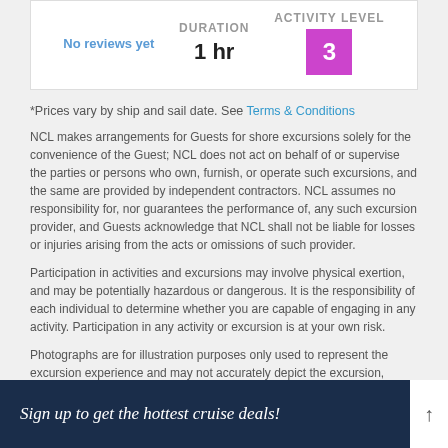No reviews yet
DURATION
1 hr
ACTIVITY LEVEL
3
*Prices vary by ship and sail date. See Terms & Conditions
NCL makes arrangements for Guests for shore excursions solely for the convenience of the Guest; NCL does not act on behalf of or supervise the parties or persons who own, furnish, or operate such excursions, and the same are provided by independent contractors. NCL assumes no responsibility for, nor guarantees the performance of, any such excursion provider, and Guests acknowledge that NCL shall not be liable for losses or injuries arising from the acts or omissions of such provider.
Participation in activities and excursions may involve physical exertion, and may be potentially hazardous or dangerous. It is the responsibility of each individual to determine whether you are capable of engaging in any activity. Participation in any activity or excursion is at your own risk.
Photographs are for illustration purposes only used to represent the excursion experience and may not accurately depict the excursion, location, or activity indicated.
Our group shore excursions are offered in English. Depending on the booking situation, various excursions are also offered in German, Spanish, French, Italian or Russian (minimum number of 30 participants). The tours offered may vary from cruise to cruise. Please see the detailed information for your shore excursion on board.
Sign up to get the hottest cruise deals!